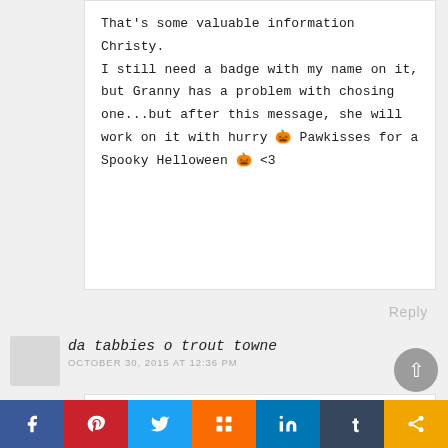That's some valuable information Christy. I still need a badge with my name on it, but Granny has a problem with chosing one...but after this message, she will work on it with hurry 🎃 Pawkisses for a Spooky Helloween 🎃 <3
Reply
da tabbies o trout towne
OCTOBER 30, 2015 AT 12:36 PM
guys...thanx for sharin thiz post; N we iz sorree ya HAD ta evacuatez in de furst place....we hope ya never have two gain..... we think yur mom did an awesum job....